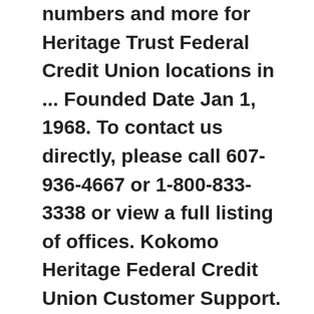numbers and more for Heritage Trust Federal Credit Union locations in ... Founded Date Jan 1, 1968. To contact us directly, please call 607-936-4667 or 1-800-833-3338 or view a full listing of offices. Kokomo Heritage Federal Credit Union Customer Support. Recruiting Coordinator Since May 2008. 2267 When you compare the fine print, you'll be glad you did! P.O. Clicking "Ok" refreshes the system for another 20-minute cycle. It is one of the largest credit unions in the